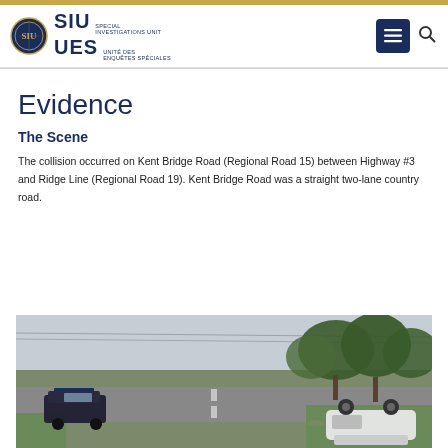SIU UES Special Investigations Unit / Unité Des Enquêtes Spéciales
Evidence
The Scene
The collision occurred on Kent Bridge Road (Regional Road 15) between Highway #3 and Ridge Line (Regional Road 19). Kent Bridge Road was a straight two-lane country road.
[Figure (photo): Exterior scene photograph showing a rural two-lane road with a police cruiser on the left and an overturned white vehicle on the right shoulder, with large trees in the background under an overcast sky.]